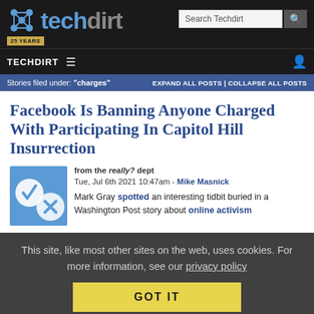Techdirt - 25 Years
TECHDIRT ≡
Stories filed under: "charges" | EXPAND ALL POSTS | COLLAPSE ALL POSTS
Facebook Is Banning Anyone Charged With Participating In Capitol Hill Insurrection
from the really? dept
Tue, Jul 6th 2021 10:47am - Mike Masnick
Mark Gray spotted an interesting tidbit buried in a Washington Post story about online activism
This site, like most other sites on the web, uses cookies. For more information, see our privacy policy
GOT IT